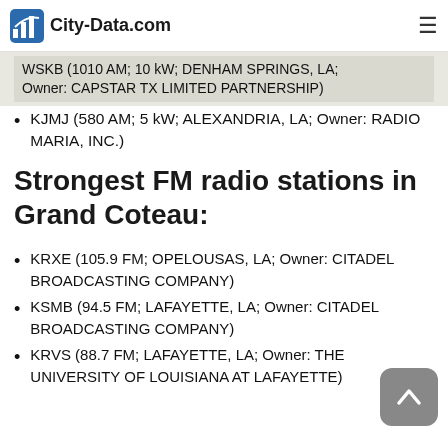City-Data.com
WSKB (1010 AM; 10 kW; DENHAM SPRINGS, LA; Owner: CAPSTAR TX LIMITED PARTNERSHIP)
KJMJ (580 AM; 5 kW; ALEXANDRIA, LA; Owner: RADIO MARIA, INC.)
Strongest FM radio stations in Grand Coteau:
KRXE (105.9 FM; OPELOUSAS, LA; Owner: CITADEL BROADCASTING COMPANY)
KSMB (94.5 FM; LAFAYETTE, LA; Owner: CITADEL BROADCASTING COMPANY)
KRVS (88.7 FM; LAFAYETTE, LA; Owner: THE UNIVERSITY OF LOUISIANA AT LAFAYETTE)
KSJY (90.9 FM; LAFAYETTE, LA; Owner: AMERICAN FAMILY ASSOCIATION, INC.)
KRRQ (95.5 FM; LAFAYETTE, LA; Owner: CITADEL BROADCASTING COMPANY)
KTDY (99.9 FM; LAFAYETTE, LA; Owner: REGENT